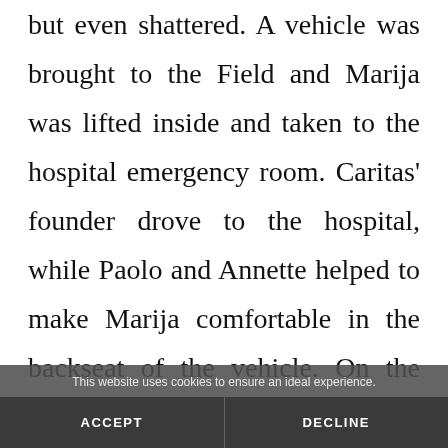but even shattered. A vehicle was brought to the Field and Marija was lifted inside and taken to the hospital emergency room. Caritas' founder drove to the hospital, while Paolo and Annette helped to make Marija comfortable in the backseat of the vehicle. On the way to the
This website uses cookies to ensure an ideal experience.
ACCEPT
DECLINE